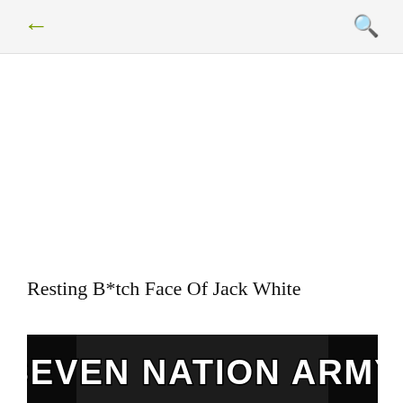← [back] [search]
Resting B*tch Face Of Jack White
[Figure (photo): Meme image showing a person with text overlay reading 'SEVEN NATION ARMY' in large bold white letters with black outline on a dark background]